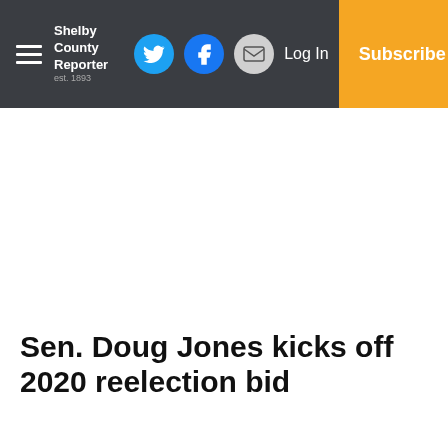Shelby County Reporter — Navbar with hamburger menu, social icons (Twitter, Facebook, Email), Log In, Subscribe
Sen. Doug Jones kicks off 2020 reelection bid